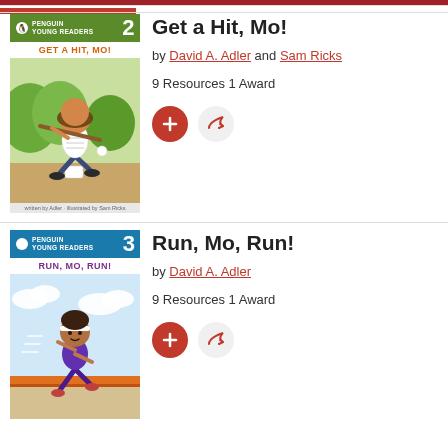[Figure (illustration): Book cover for 'Get a Hit, Mo!' - Penguin Young Readers Level 2, showing a child in baseball stance hitting a ball, illustrated by Sam Ricks]
Get a Hit, Mo!
by David A. Adler and Sam Ricks
9 Resources  1 Award
[Figure (illustration): Book cover for 'Run, Mo, Run!' - Penguin Young Readers Level 3, showing a child running through a finish line tape]
Run, Mo, Run!
by David A. Adler
9 Resources  1 Award